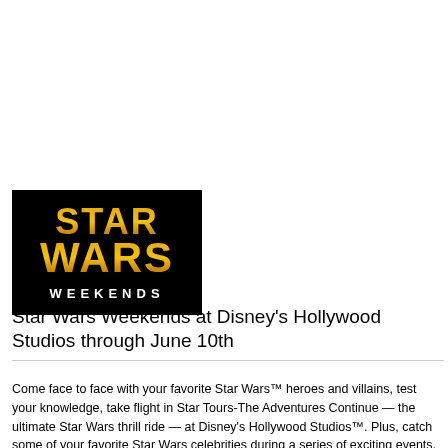[Figure (logo): Star Wars Weekends logo on black background with gold/orange text]
Star Wars Weekends at Disney's Hollywood Studios through June 10th
Come face to face with your favorite Star Wars™ heroes and villains, test your knowledge, take flight in Star Tours-The Adventures Continue — the ultimate Star Wars thrill ride — at Disney's Hollywood Studios™. Plus, catch some of your favorite Star Wars celebrities during a series of exciting events.